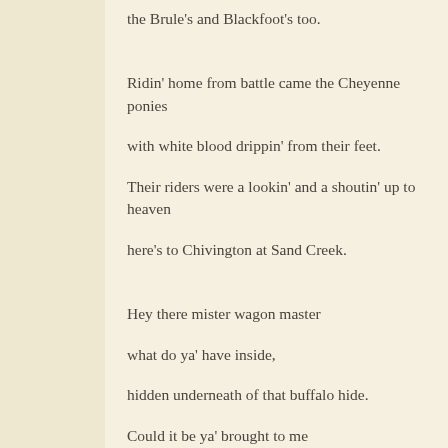the Brule's and Blackfoot's too.
Ridin' home from battle came the Cheyenne ponies
with white blood drippin' from their feet.
Their riders were a lookin' and a shoutin' up to heaven
here's to Chivington at Sand Creek.
Hey there mister wagon master
what do ya' have inside,
hidden underneath of that buffalo hide.
Could it be ya' brought to me